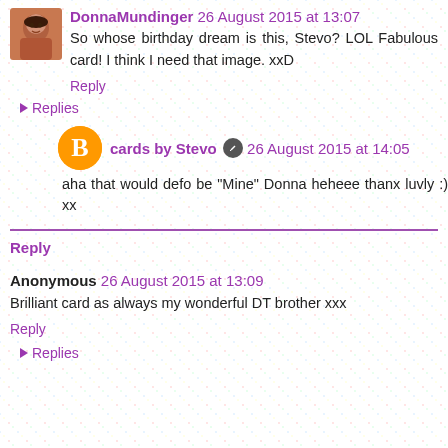[Figure (photo): Avatar photo of DonnaMundinger - woman with dark hair]
DonnaMundinger 26 August 2015 at 13:07
So whose birthday dream is this, Stevo? LOL Fabulous card! I think I need that image. xxD
Reply
Replies
[Figure (logo): Blogger orange circle logo icon]
cards by Stevo 26 August 2015 at 14:05
aha that would defo be "Mine" Donna heheee thanx luvly :) xx
Reply
Anonymous 26 August 2015 at 13:09
Brilliant card as always my wonderful DT brother xxx
Reply
Replies